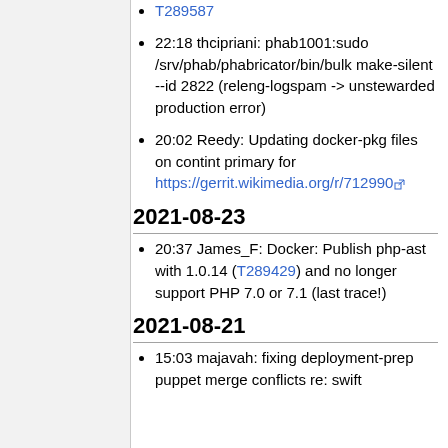T289587
22:18 thcipriani: phab1001:sudo /srv/phab/phabricator/bin/bulk make-silent --id 2822 (releng-logspam -> unstewarded production error)
20:02 Reedy: Updating docker-pkg files on contint primary for https://gerrit.wikimedia.org/r/7129990
2021-08-23
20:37 James_F: Docker: Publish php-ast with 1.0.14 (T289429) and no longer support PHP 7.0 or 7.1 (last trace!)
2021-08-21
15:03 majavah: fixing deployment-prep puppet merge conflicts re: swift